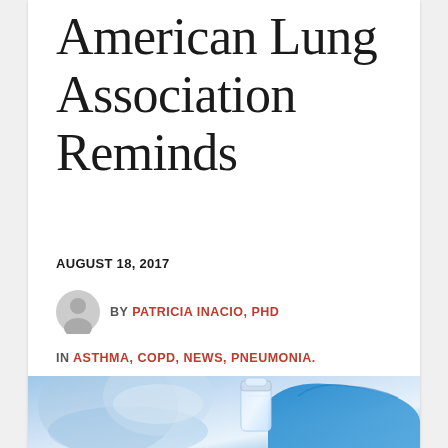American Lung Association Reminds
AUGUST 18, 2017
BY PATRICIA INACIO, PHD
IN ASTHMA, COPD, NEWS, PNEUMONIA.
[Figure (photo): Close-up photo of a medical professional in blue gloves holding a small glass vial, with a blurred face in the background wearing a surgical mask]